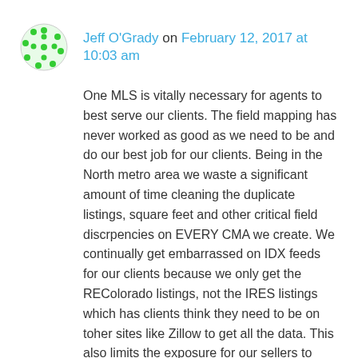Jeff O'Grady on February 12, 2017 at 10:03 am
One MLS is vitally necessary for agents to best serve our clients. The field mapping has never worked as good as we need to be and do our best job for our clients. Being in the North metro area we waste a significant amount of time cleaning the duplicate listings, square feet and other critical field discrpencies on EVERY CMA we create. We continually get embarrassed on IDX feeds for our clients because we only get the REColorado listings, not the IRES listings which has clients think they need to be on toher sites like Zillow to get all the data. This also limits the exposure for our sellers to because the vast majority of agents property alerts only give